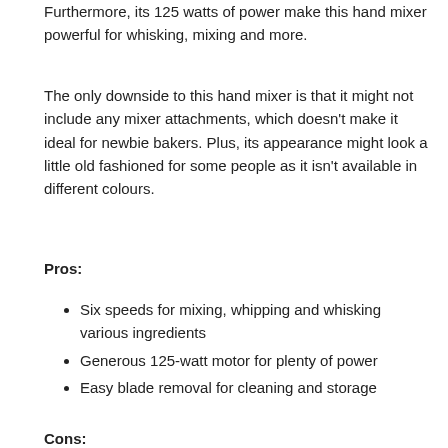Furthermore, its 125 watts of power make this hand mixer powerful for whisking, mixing and more.
The only downside to this hand mixer is that it might not include any mixer attachments, which doesn't make it ideal for newbie bakers. Plus, its appearance might look a little old fashioned for some people as it isn't available in different colours.
Pros:
Six speeds for mixing, whipping and whisking various ingredients
Generous 125-watt motor for plenty of power
Easy blade removal for cleaning and storage
Cons: